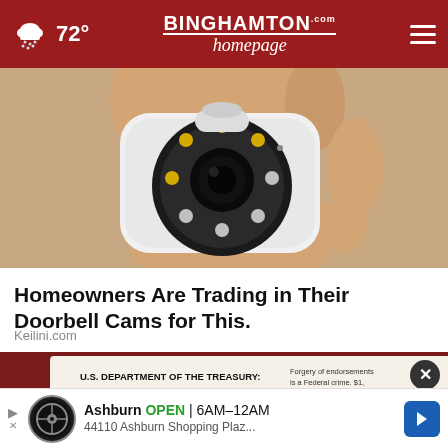72° | BINGHAMTON homepage.com
[Figure (photo): A hand holding a small white surveillance camera with a round front lens surrounded by LED lights]
Homeowners Are Trading in Their Doorbell Cams for This.
Keilini.com
[Figure (photo): Partial image of a U.S. Department of the Treasury Bureau of the Fiscal Service check from P.O. Box 51315, Philadelphia, Pennsylvania 19115-6315, with text about endorsement being a federal crime]
Ashburn OPEN | 6AM–12AM
44110 Ashburn Shopping Plaz...